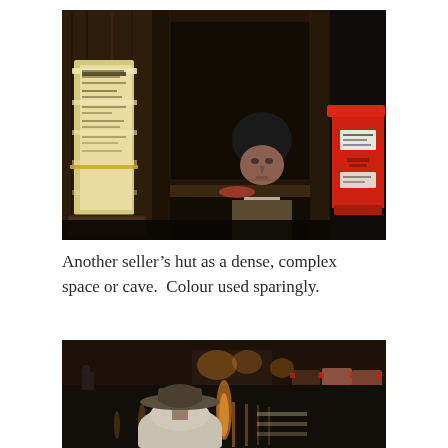[Figure (photo): A newspaper seller's hut or kiosk interior. A person wearing a dark beanie hat is visible through a wooden-framed window. Newspapers are bundled and attached to the left wooden post. A bright red vending machine or postbox is visible on the right. The scene is dark and cluttered, with colour used sparingly — the main colour accent being the vivid red box on the right.]
Another seller's hut as a dense, complex space or cave.  Colour used sparingly.
[Figure (photo): A rainy street scene at dusk or evening. A person in a hat and light coat is seen from behind walking on a wet pavement. Warm golden reflections of streetlights shimmer on the wet road surface. Parked cars with red tail lights are visible in the background. The scene has a warm amber and orange palette from the reflections contrasting with the dark street.]